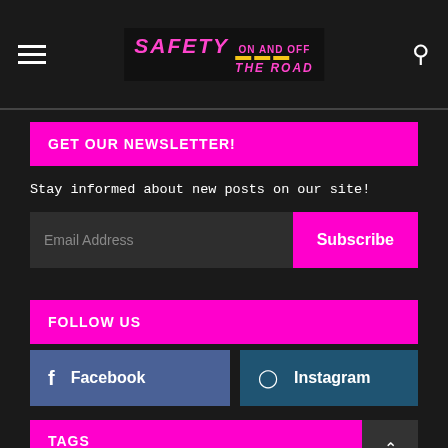SAFETY ON AND OFF THE ROAD
GET OUR NEWSLETTER!
Stay informed about new posts on our site!
Email Address  Subscribe
FOLLOW US
Facebook
Instagram
TAGS